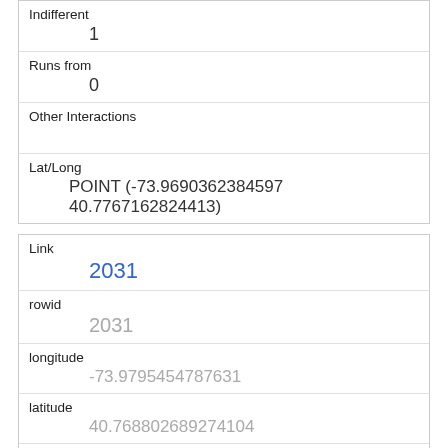| Indifferent | 1 |
| Runs from | 0 |
| Other Interactions |  |
| Lat/Long | POINT (-73.9690362384597 40.7767162824413) |
| Link | 2031 |
| rowid | 2031 |
| longitude | -73.9795454787631 |
| latitude | 40.768802689274104 |
| Unique Squirrel ID | 3B-PM-1007-09 |
| Hectare |  |